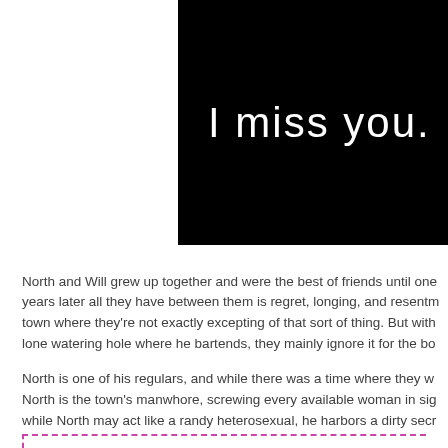[Figure (illustration): Black background image with white text reading 'I miss you.' in a light sans-serif font]
North and Will grew up together and were the best of friends until one years later all they have between them is regret, longing, and resentm town where they're not exactly excepting of that sort of thing. But with lone watering hole where he bartends, they mainly ignore it for the bo
North is one of his regulars, and while there was a time where they w North is the town's manwhore, screwing every available woman in sig while North may act like a randy heterosexual, he harbors a dirty secr